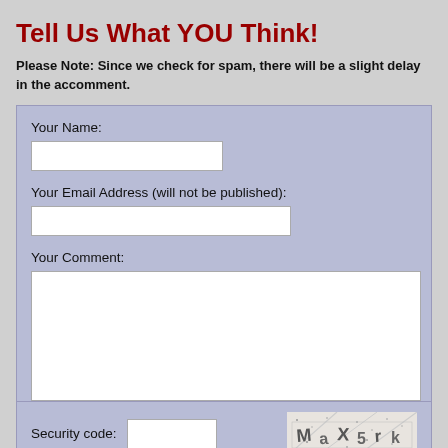Tell Us What YOU Think!
Please Note: Since we check for spam, there will be a slight delay in the appearance of your comment.
Your Name:
Your Email Address (will not be published):
Your Comment:
Security code: